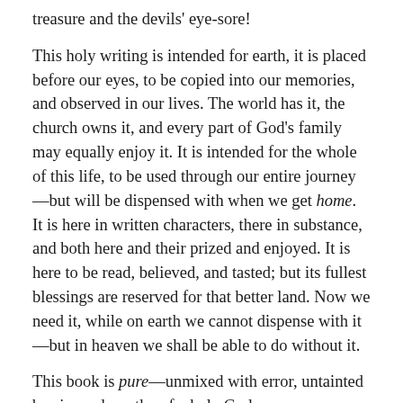treasure and the devils' eye-sore!
This holy writing is intended for earth, it is placed before our eyes, to be copied into our memories, and observed in our lives. The world has it, the church owns it, and every part of God's family may equally enjoy it. It is intended for the whole of this life, to be used through our entire journey—but will be dispensed with when we get home. It is here in written characters, there in substance, and both here and their prized and enjoyed. It is here to be read, believed, and tasted; but its fullest blessings are reserved for that better land. Now we need it, while on earth we cannot dispense with it—but in heaven we shall be able to do without it.
This book is pure—unmixed with error, untainted by sin, and worthy of a holy God.
This book is true—and may therefore be firmly believed, implicitly trusted, and